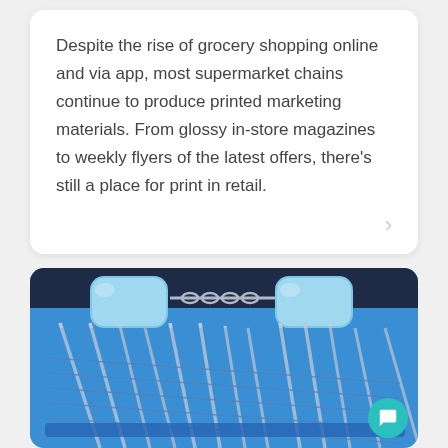Despite the rise of grocery shopping online and via app, most supermarket chains continue to produce printed marketing materials. From glossy in-store magazines to weekly flyers of the latest offers, there's still a place for print in retail.
[Figure (photo): Close-up photo of stacked supermarket shopping trolleys/carts with blue plastic handles, silver metal frames, against a bright blue sky background.]